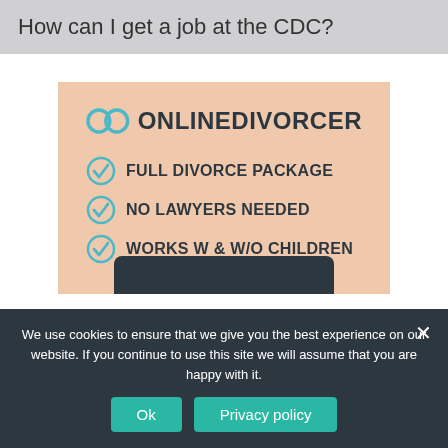How can I get a job at the CDC?
[Figure (infographic): OnlineDivorcer advertisement banner on peach/salmon background. Shows the brand name with infinity ring logo, and three checkmark bullet points: FULL DIVORCE PACKAGE, NO LAWYERS NEEDED, WORKS W & W/O CHILDREN. A dark button area is at the bottom of the banner.]
We use cookies to ensure that we give you the best experience on our website. If you continue to use this site we will assume that you are happy with it.
Ok
Privacy policy